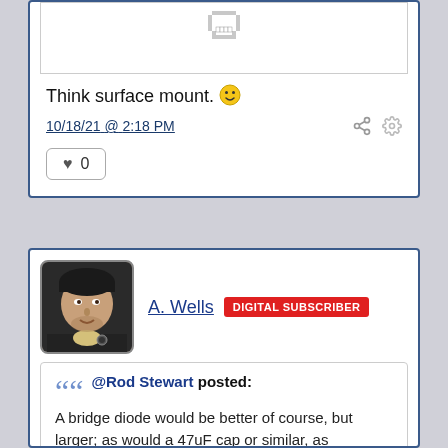[Figure (illustration): Small pixelated grin/teeth emoji icon inside a bordered box]
Think surface mount. 🙂
10/18/21 @ 2:18 PM
❤ 0
[Figure (photo): Profile photo of A. Wells, a man wearing a dark cap with a yellow shirt]
A. Wells  DIGITAL SUBSCRIBER
@Rod Stewart posted: A bridge diode would be better of course, but larger; as would a 47uF cap or similar, as suggested by grj. But to me an led flickering at